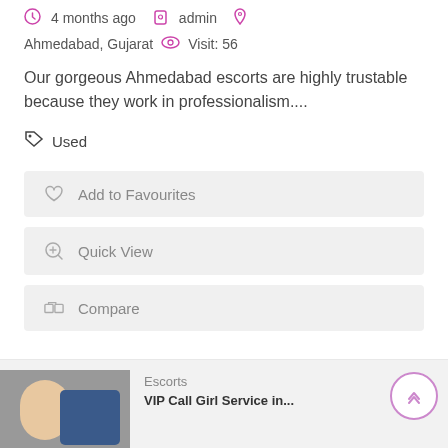4 months ago   admin
Ahmedabad, Gujarat   Visit: 56
Our gorgeous Ahmedabad escorts are highly trustable because they work in professionalism....
Used
Add to Favourites
Quick View
Compare
Escorts
VIP Call Girl Service in...